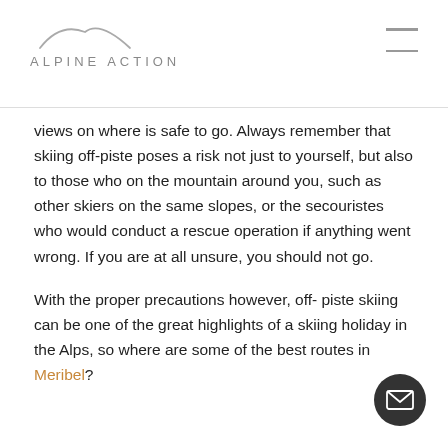ALPINE ACTION
views on where is safe to go. Always remember that skiing off-piste poses a risk not just to yourself, but also to those who on the mountain around you, such as other skiers on the same slopes, or the secouristes who would conduct a rescue operation if anything went wrong. If you are at all unsure, you should not go.
With the proper precautions however, off- piste skiing can be one of the great highlights of a skiing holiday in the Alps, so where are some of the best routes in Meribel?